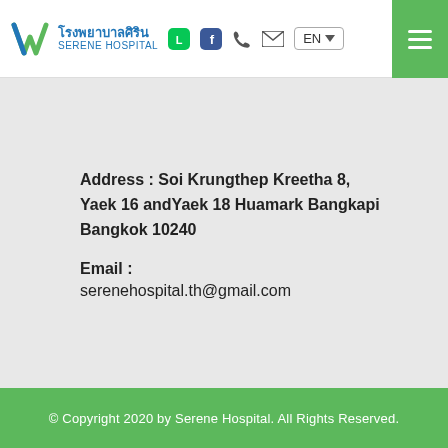โรงพยาบาลศิริน SERENE HOSPITAL | EN
Address : Soi Krungthep Kreetha 8, Yaek 16 andYaek 18 Huamark Bangkapi Bangkok 10240
Email :
serenehospital.th@gmail.com
© Copyright 2020 by Serene Hospital. All Rights Reserved.